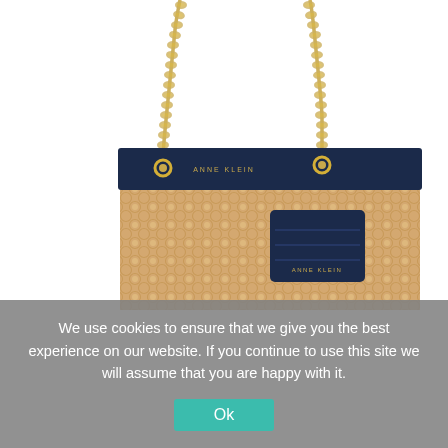[Figure (photo): A Anne Klein woven cane/rattan tote bag with navy blue leather trim and gold chain straps, with a small navy blue leather card holder/wallet attached to the chain.]
We use cookies to ensure that we give you the best experience on our website. If you continue to use this site we will assume that you are happy with it.
Ok